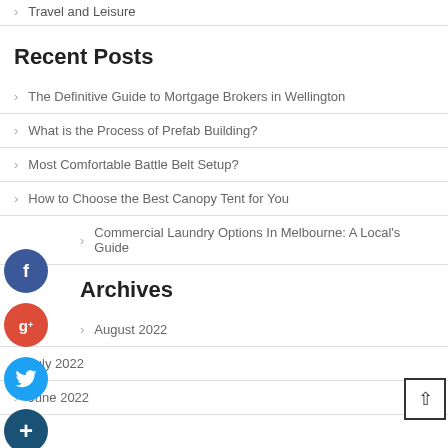Travel and Leisure
Recent Posts
The Definitive Guide to Mortgage Brokers in Wellington
What is the Process of Prefab Building?
Most Comfortable Battle Belt Setup?
How to Choose the Best Canopy Tent for You
Commercial Laundry Options In Melbourne: A Local's Guide
Archives
August 2022
July 2022
June 2022